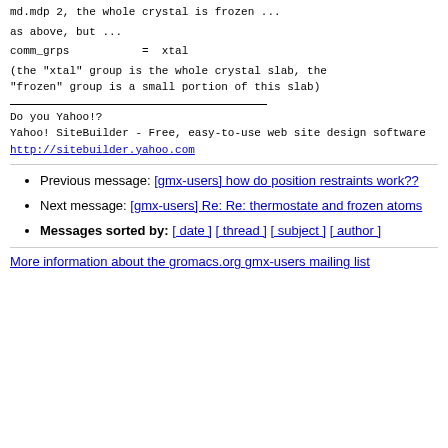md.mdp 2, the whole crystal is frozen ...
as above, but ...
comm_grps           =  xtal
(the "xtal" group is the whole crystal slab, the "frozen" group is a small portion of this slab)
Do you Yahoo!?
Yahoo! SiteBuilder - Free, easy-to-use web site design software
http://sitebuilder.yahoo.com
Previous message: [gmx-users] how do position restraints work??
Next message: [gmx-users] Re: Re: thermostate and frozen atoms
Messages sorted by: [ date ] [ thread ] [ subject ] [ author ]
More information about the gromacs.org gmx-users mailing list